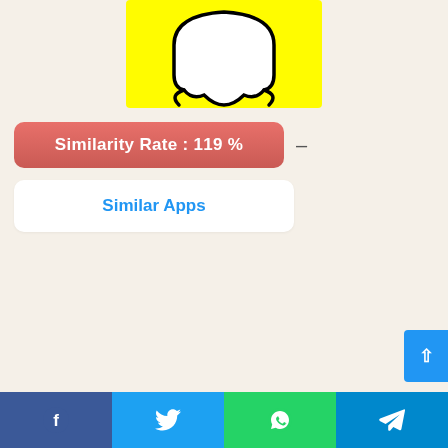[Figure (logo): Snapchat ghost logo on yellow background]
Similarity Rate : 119 %
Similar Apps
28. SimpleMind Lite – Mind Mapping 🏠 Mind mapping helps you organize your thoughts, remember things, and generate new ideas. We've created a beautiful and intuitive app, so you can mental map wherever and whenever you want. and Mac – https://simplemind.euFree Functionality •